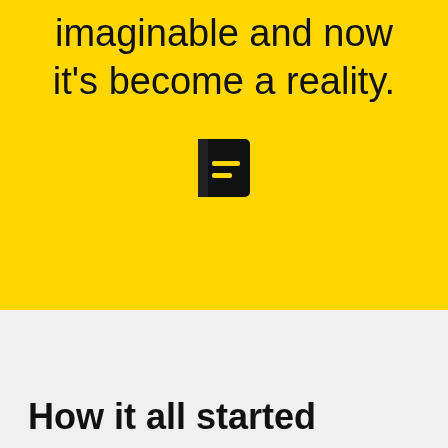imaginable and now it’s become a reality.
[Figure (illustration): Black book icon with two horizontal lines on the cover, centered on yellow background]
How it all started